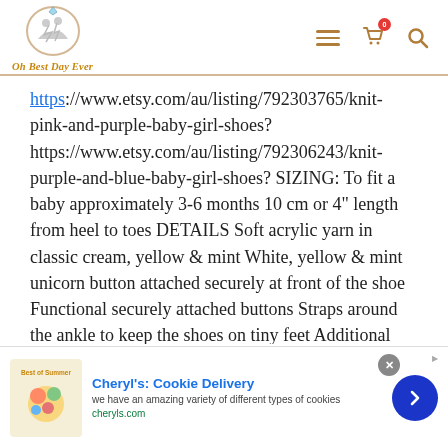Oh Best Day Ever — navigation header with logo, hamburger menu, cart (0), search
https://www.etsy.com/au/listing/792303765/knit-pink-and-purple-baby-girl-shoes? https://www.etsy.com/au/listing/792306243/knit-purple-and-blue-baby-girl-shoes? SIZING: To fit a baby approximately 3-6 months 10 cm or 4" length from heel to toes DETAILS Soft acrylic yarn in classic cream, yellow & mint White, yellow & mint unicorn button attached securely at front of the shoe Functional securely attached buttons Straps around the ankle to keep the shoes on tiny feet Additional stretch both around the ankle & in length Machine
[Figure (screenshot): Advertisement banner for Cheryl's Cookie Delivery with summer-themed cookie image, blue arrow button, and close button]